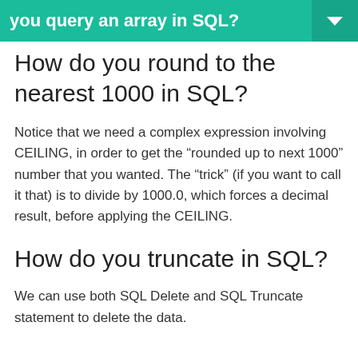you query an array in SQL?
How do you round to the nearest 1000 in SQL?
Notice that we need a complex expression involving CEILING, in order to get the “rounded up to next 1000” number that you wanted. The “trick” (if you want to call it that) is to divide by 1000.0, which forces a decimal result, before applying the CEILING.
How do you truncate in SQL?
We can use both SQL Delete and SQL Truncate statement to delete the data.